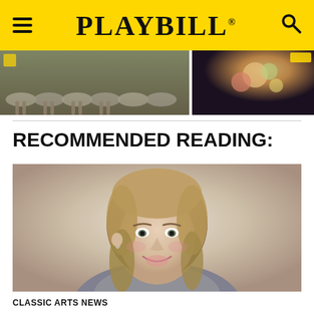PLAYBILL
[Figure (photo): Banner showing two photos side by side: left shows ballet dancers in white tutus from behind, right shows a person with colorful flowers in dark lighting]
RECOMMENDED READING:
[Figure (photo): Portrait photo of a smiling blonde woman with shoulder-length hair, wearing a gray top, photographed against a light background]
CLASSIC ARTS NEWS